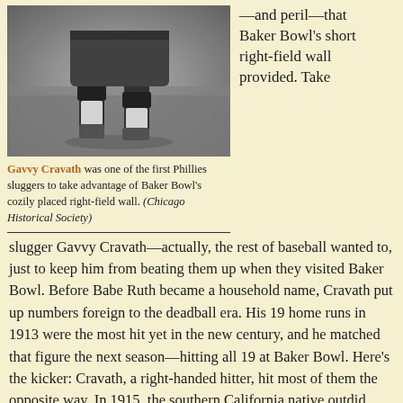[Figure (photo): Black and white photograph showing the lower body/legs of a baseball player on a field, wearing baseball uniform with knee-high socks and cleats.]
Gavvy Cravath was one of the first Phillies sluggers to take advantage of Baker Bowl's cozily placed right-field wall. (Chicago Historical Society)
—and peril—that Baker Bowl's short right-field wall provided. Take slugger Gavvy Cravath—actually, the rest of baseball wanted to, just to keep him from beating them up when they visited Baker Bowl. Before Babe Ruth became a household name, Cravath put up numbers foreign to the deadball era. His 19 home runs in 1913 were the most hit yet in the new century, and he matched that figure the next season—hitting all 19 at Baker Bowl. Here's the kicker: Cravath, a right-handed hitter, hit most of them the opposite way. In 1915, the southern California native outdid himself again, raking 24 over the fence—19 of those again at Baker Bowl. In fact, he accounted for 10%